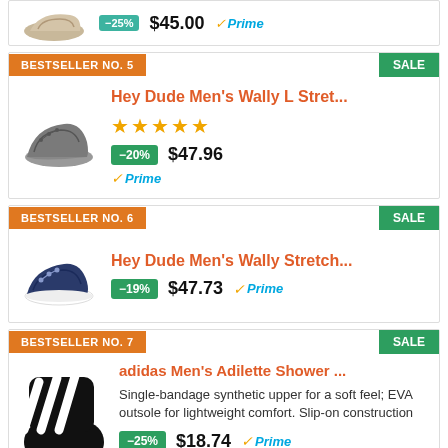-25% $45.00 Prime
BESTSELLER NO. 5
SALE
Hey Dude Men's Wally L Stret...
★★★★★ -20% $47.96 Prime
BESTSELLER NO. 6
SALE
Hey Dude Men's Wally Stretch...
-19% $47.73 Prime
BESTSELLER NO. 7
SALE
adidas Men's Adilette Shower ...
Single-bandage synthetic upper for a soft feel; EVA outsole for lightweight comfort. Slip-on construction
-25% $18.74 Prime